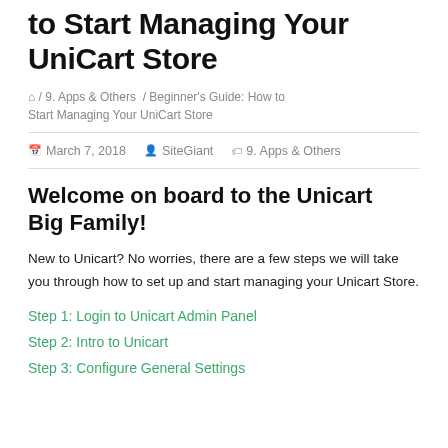to Start Managing Your UniCart Store
🏠 / 9. Apps & Others / Beginner's Guide: How to Start Managing Your UniCart Store
📅 March 7, 2018   👤 SiteGiant   🏷 9. Apps & Others
Welcome on board to the Unicart Big Family!
New to Unicart? No worries, there are a few steps we will take you through how to set up and start managing your Unicart Store.
Step 1: Login to Unicart Admin Panel
Step 2: Intro to Unicart
Step 3: Configure General Settings